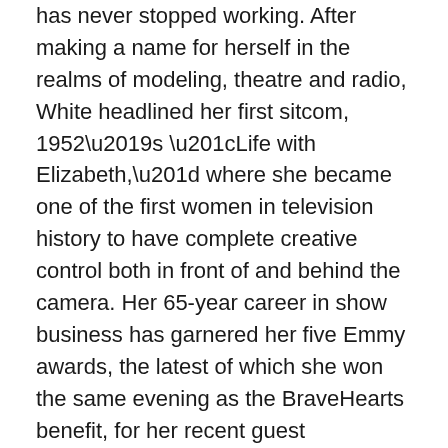has never stopped working. After making a name for herself in the realms of modeling, theatre and radio, White headlined her first sitcom, 1952's “Life with Elizabeth,” where she became one of the first women in television history to have complete creative control both in front of and behind the camera. Her 65-year career in show business has garnered her five Emmy awards, the latest of which she won the same evening as the BraveHearts benefit, for her recent guest appearance on “Saturday Night Live.”
After several decades in the business, White has found herself on top of the world. In the words of Elka, her new character on the hit show, “Hot in Cleveland,” “It took me 88 years to realize I got game!” The Independent participated in an interview with White, whose support of BraveHearts Therapeutic Riding & Educational Center in